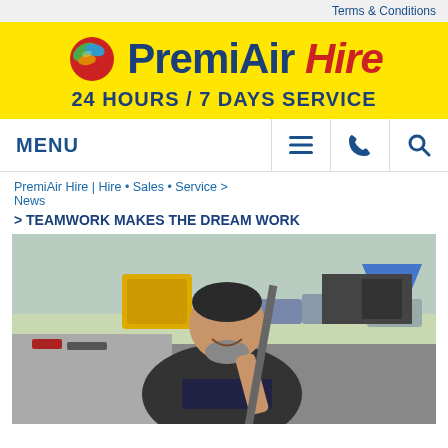Terms & Conditions
[Figure (logo): PremiAir Hire logo with red/green bird icon on yellow background, text reads PremiAir Hire 24 HOURS / 7 DAYS SERVICE]
MENU
PremiAir Hire | Hire • Sales • Service >
News
> TEAMWORK MAKES THE DREAM WORK
[Figure (photo): A man in a PremiAir Hire t-shirt smiling and working on equipment outdoors in a car park area]